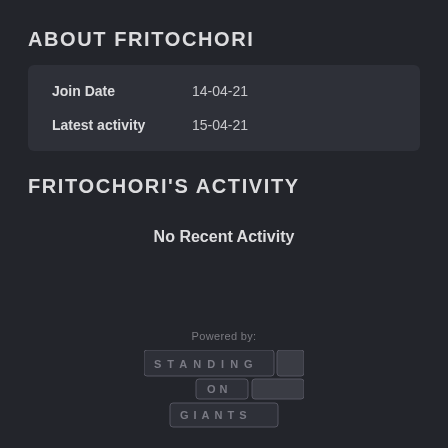ABOUT FRITOCHORI
| Join Date | 14-04-21 |
| Latest activity | 15-04-21 |
FRITOCHORI'S ACTIVITY
No Recent Activity
Powered by: STANDING ON GIANTS